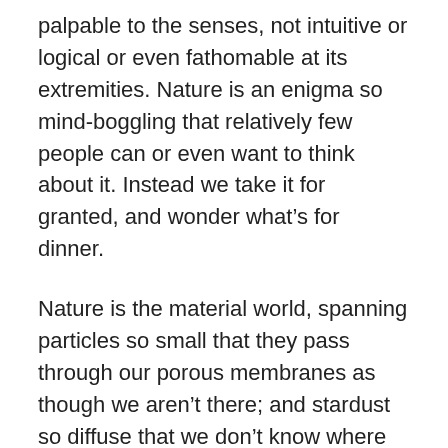palpable to the senses, not intuitive or logical or even fathomable at its extremities. Nature is an enigma so mind-boggling that relatively few people can or even want to think about it. Instead we take it for granted, and wonder what's for dinner.
Nature is the material world, spanning particles so small that they pass through our porous membranes as though we aren't there; and stardust so diffuse that we don't know where (or if) it ever ends. Beginning in the Italian Renaissance, artists and scientists have investigated material in order to understand what it truly is, why it sometimes comes to life and lives on, how it may be controlled and used for practical